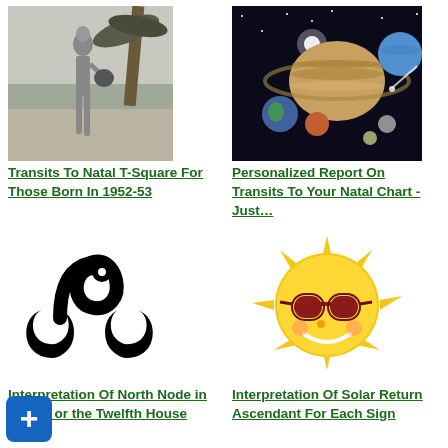[Figure (photo): Black and white photo of a woman in shorts and halter top standing near a palm tree on a beach]
[Figure (illustration): Colorful illustration of planets of the solar system grouped together against a dark space background]
Transits To Natal T-Square For Those Born In 1952-53
Personalized Report On Transits To Your Natal Chart - Just…
[Figure (illustration): Black Leo zodiac symbol on white background]
[Figure (illustration): Yellow sun emoji with sunglasses smiling face illustration]
Interpretation Of North Node in Pisces or the Twelfth House
Interpretation Of Solar Return Ascendant For Each Sign